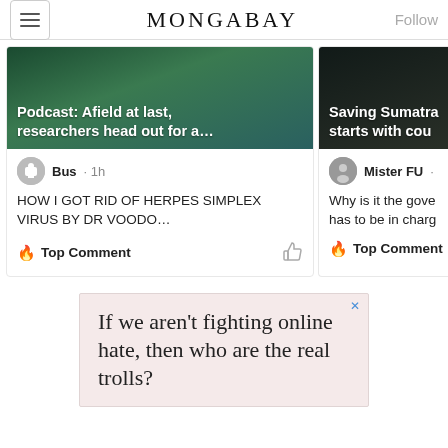MONGABAY
[Figure (screenshot): Mongabay article card: image of bird/nature with overlay text 'Podcast: Afield at last, researchers head out for a...' and user comment 'HOW I GOT RID OF HERPES SIMPLEX VIRUS BY DR VOODO...' with Top Comment badge]
[Figure (screenshot): Mongabay article card (partially visible): dark image with overlay text 'Saving Sumatra starts with cou' and user 'Mister FU' comment 'Why is it the gove has to be in charg' with Top Comment badge]
[Figure (other): Advertisement: pink/beige background with text 'If we aren't fighting online hate, then who are the real trolls?' with a close X button]